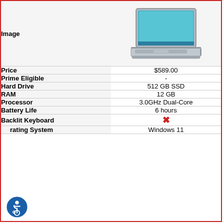| Attribute | Value |
| --- | --- |
| Image | [laptop image] |
| Price | $589.00 |
| Prime Eligible | - |
| Hard Drive | 512 GB SSD |
| RAM | 12 GB |
| Processor | 3.0GHz Dual-Core |
| Battery Life | 6 hours |
| Backlit Keyboard | ✗ |
| Operating System | Windows 11 |